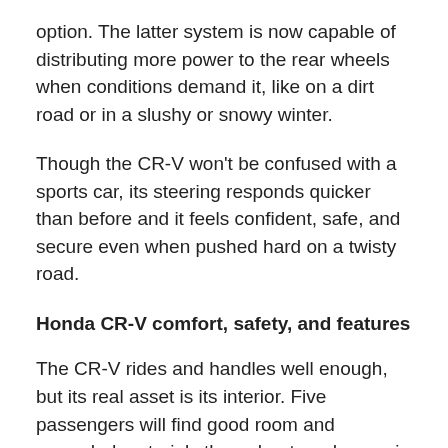option. The latter system is now capable of distributing more power to the rear wheels when conditions demand it, like on a dirt road or in a slushy or snowy winter.
Though the CR-V won't be confused with a sports car, its steering responds quicker than before and it feels confident, safe, and secure even when pushed hard on a twisty road.
Honda CR-V comfort, safety, and features
The CR-V rides and handles well enough, but its real asset is its interior. Five passengers will find good room and upgraded materials throughout, and cargo is pampered better than ever before. Honda claims nearly a foot of additional cargo space length, yet no degradation in